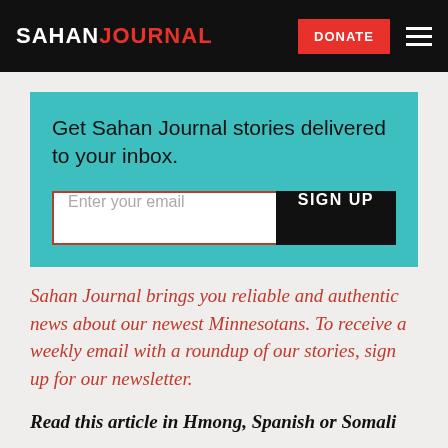SAHAN JOURNAL  DONATE
Get Sahan Journal stories delivered to your inbox.
Enter your email  SIGN UP
Sahan Journal brings you reliable and authentic news about our newest Minnesotans. To receive a weekly email with a roundup of our stories, sign up for our newsletter.
Read this article in Hmong, Spanish or Somali